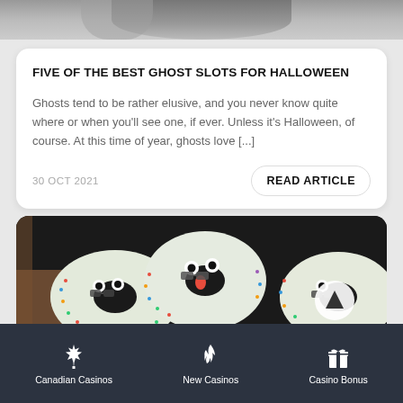[Figure (photo): Gray partial photo of person at top of page, cropped]
FIVE OF THE BEST GHOST SLOTS FOR HALLOWEEN
Ghosts tend to be rather elusive, and you never know quite where or when you'll see one, if ever. Unless it's Halloween, of course. At this time of year, ghosts love [...]
30 OCT 2021
READ ARTICLE
[Figure (photo): Close-up photo of ghost-shaped Halloween donuts decorated with candy eyes and chocolate pieces against dark background]
Canadian Casinos   New Casinos   Casino Bonus